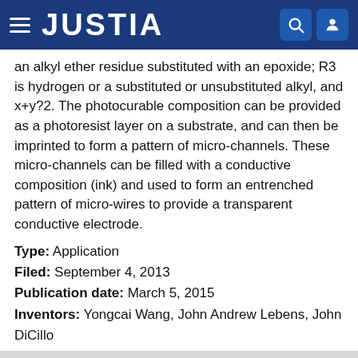JUSTIA
an alkyl ether residue substituted with an epoxide; R3 is hydrogen or a substituted or unsubstituted alkyl, and x+y?2. The photocurable composition can be provided as a photoresist layer on a substrate, and can then be imprinted to form a pattern of micro-channels. These micro-channels can be filled with a conductive composition (ink) and used to form an entrenched pattern of micro-wires to provide a transparent conductive electrode.
Type: Application
Filed: September 4, 2013
Publication date: March 5, 2015
Inventors: Yongcai Wang, John Andrew Lebens, John DiCillo
Blends of isosorbide-based copolycarbonate, method of making, and articles formed therefrom